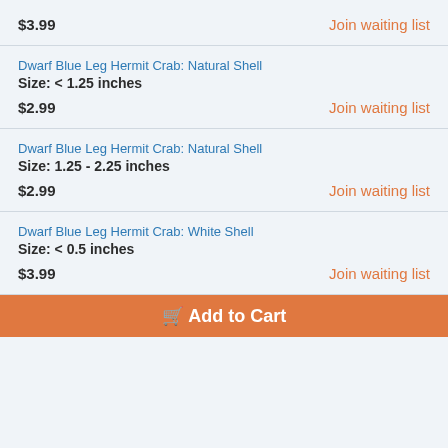$3.99
Join waiting list
Dwarf Blue Leg Hermit Crab: Natural Shell
Size: < 1.25 inches
$2.99
Join waiting list
Dwarf Blue Leg Hermit Crab: Natural Shell
Size: 1.25 - 2.25 inches
$2.99
Join waiting list
Dwarf Blue Leg Hermit Crab: White Shell
Size: < 0.5 inches
$3.99
Join waiting list